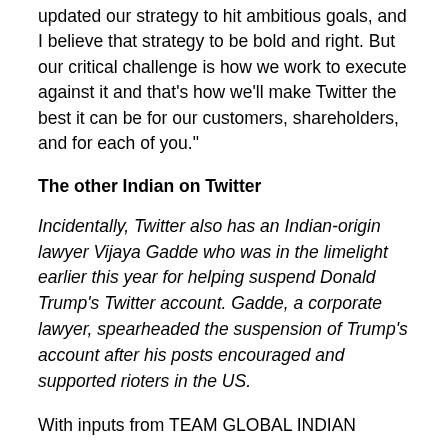updated our strategy to hit ambitious goals, and I believe that strategy to be bold and right. But our critical challenge is how we work to execute against it and that's how we'll make Twitter the best it can be for our customers, shareholders, and for each of you."
The other Indian on Twitter
Incidentally, Twitter also has an Indian-origin lawyer Vijaya Gadde who was in the limelight earlier this year for helping suspend Donald Trump's Twitter account. Gadde, a corporate lawyer, spearheaded the suspension of Trump's account after his posts encouraged and supported rioters in the US.
With inputs from TEAM GLOBAL INDIAN